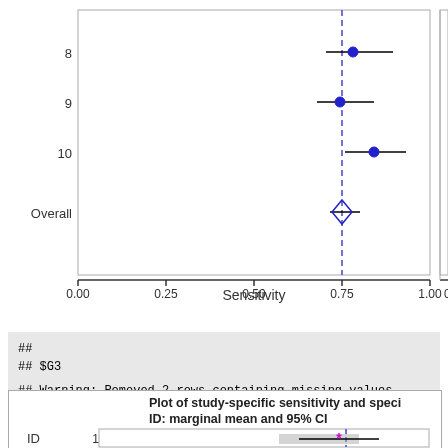[Figure (other): Forest plot showing study-specific sensitivity with confidence intervals for studies 8, 9, 10 and Overall. Blue dashed vertical reference line at ~0.75. X-axis labeled Sensitivity with ticks at 0.00, 0.25, 0.50, 0.75, 1.00. Studies shown as filled blue circles with horizontal CI lines; Overall shown as blue diamond.]
##
## $G3
## Warning: Removed 2 rows containing missing values (geom_errorbar).
[Figure (other): Partial view of a forest plot titled 'Plot of study-specific sensitivity and specificity ID: marginal mean and 95% CI'. Shows ID on y-axis, study 1 visible with a pink/magenta asterisk marker and gray confidence interval bar. Blue dashed vertical reference line visible.]